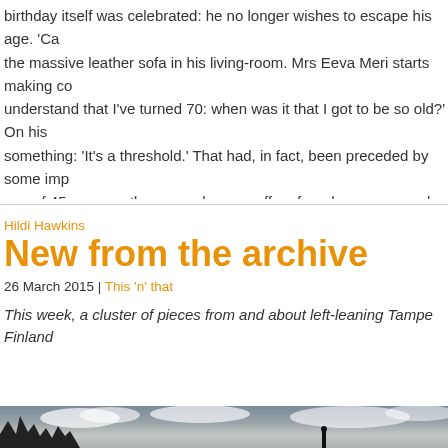birthday itself was celebrated: he no longer wishes to escape his age. 'Ca... the massive leather sofa in his living-room. Mrs Eeva Meri starts making c... understand that I've turned 70: when was it that I got to be so old?' On his something: 'It's a threshold.' That had, in fact, been preceded by some imp... age of 45, apparently, one no longer suffers from hangovers and all the mo... stopped working.' The world has become extremely familiar. There's nothin... the hedge, on the other side of the horizon. You tend to avoid thinking abou... to seem a pity that you will have to leave the world, now that you finally fee...
Hildi Hawkins
New from the archive
26 March 2015 | This 'n' that
This week, a cluster of pieces from and about left-leaning Tampe... Finland
[Figure (photo): Black and white photograph showing a landscape with trees on the left and cloudy sky]